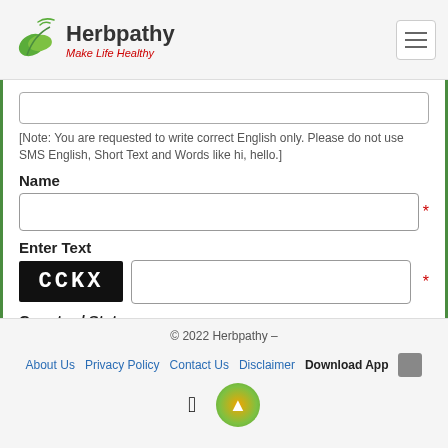Herbpathy - Make Life Healthy
[Note: You are requested to write correct English only. Please do not use SMS English, Short Text and Words like hi, hello.]
Name
Enter Text
[Figure (other): CAPTCHA image showing text CCKX in white letters on black background]
Country / State
[Optional: For better guidance]
Email
© 2022 Herbpathy –  About Us  Privacy Policy  Contact Us  Disclaimer  Download App